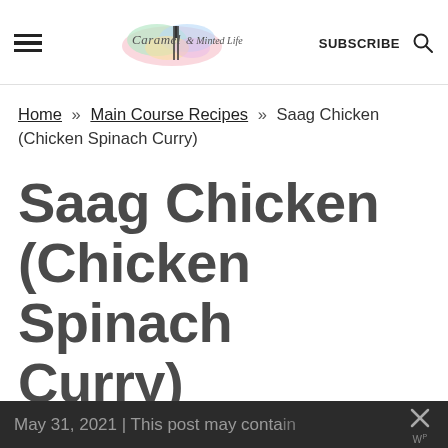Caramel & Minted Life — SUBSCRIBE [search icon]
Home » Main Course Recipes » Saag Chicken (Chicken Spinach Curry)
Saag Chicken (Chicken Spinach Curry)
Published: May 20, 2021 · Modified: May 31, 2021 | This post may contain
May 31, 2021 | This post may contain [close icon]